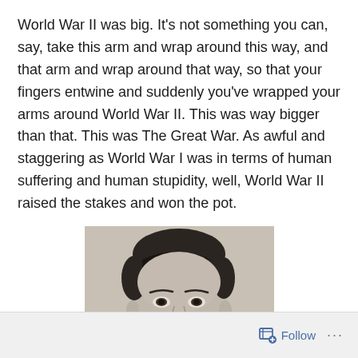World War II was big. It's not something you can, say, take this arm and wrap around this way, and that arm and wrap around that way, so that your fingers entwine and suddenly you've wrapped your arms around World War II. This was way bigger than that. This was The Great War. As awful and staggering as World War I was in terms of human suffering and human stupidity, well, World War II raised the stakes and won the pot.
[Figure (photo): Black and white portrait photograph of a young man with dark hair, looking slightly to the side, wearing what appears to be a light-colored shirt or military uniform.]
Follow ···